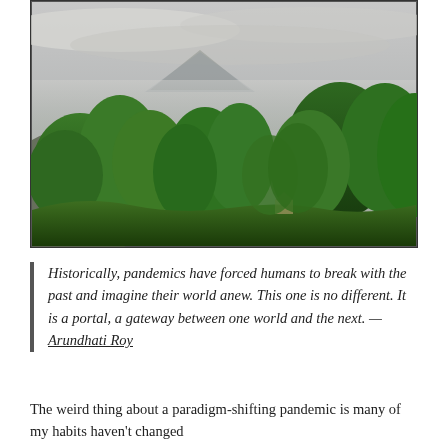[Figure (photo): Landscape photograph showing lush green trees in the foreground with a misty, cloudy sky and faint mountain or hill shape visible in the background distance. The scene appears overcast and moody.]
Historically, pandemics have forced humans to break with the past and imagine their world anew. This one is no different. It is a portal, a gateway between one world and the next. — Arundhati Roy
The weird thing about a paradigm-shifting pandemic is many of my habits haven't changed